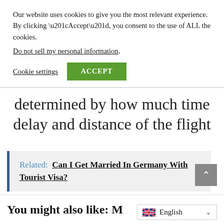Our website uses cookies to give you the most relevant experience. By clicking “Accept”, you consent to the use of ALL the cookies.
Do not sell my personal information.
Cookie settings
ACCEPT
determined by how much time delay and distance of the flight
Related: Can I Get Married In Germany With Tourist Visa?
You might also like: M